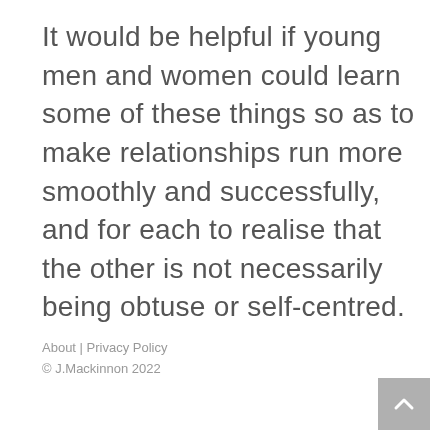It would be helpful if young men and women could learn some of these things so as to make relationships run more smoothly and successfully, and for each to realise that the other is not necessarily being obtuse or self-centred.
About | Privacy Policy
© J.Mackinnon 2022